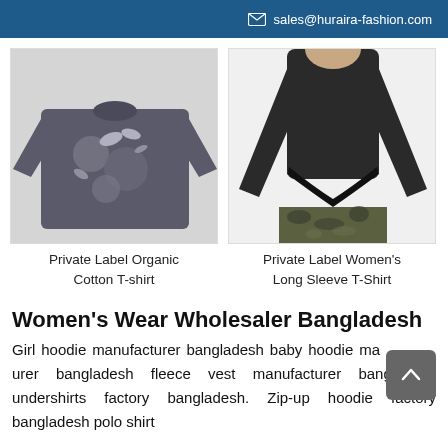sales@huraira-fashion.com
[Figure (photo): Woman wearing a dark grey long-sleeve t-shirt with a bird and botanical print graphic]
[Figure (photo): Woman in a black form-fitting long sleeve t-shirt pulling up the hem, wearing camo pants]
Private Label Organic Cotton T-shirt
Private Label Women's Long Sleeve T-Shirt
Women's Wear Wholesaler Bangladesh
Girl hoodie manufacturer bangladesh baby hoodie manufacturer bangladesh fleece vest manufacturer bangladesh undershirts factory bangladesh. Zip-up hoodie factory bangladesh polo shirt